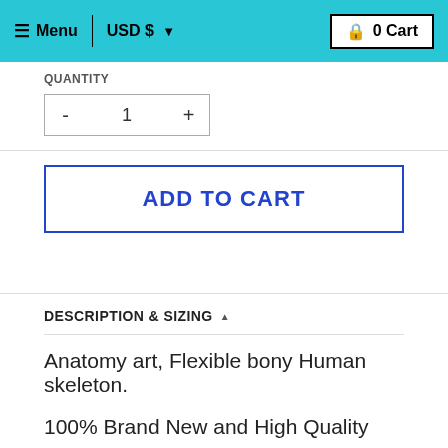☰ Menu | USD $ ▾  🔒 0 Cart
QUANTITY
- 1 +
ADD TO CART
DESCRIPTION & SIZING ▲
Anatomy art, Flexible bony Human skeleton.
100% Brand New and High Quality
Material: Resin